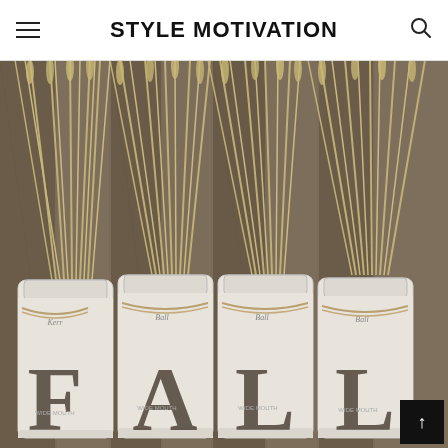STYLE MOTIVATION
[Figure (photo): Four white distressed mason jars labeled F-A-L-L with dried wheat stalks arranged in them, placed in front of a rustic wooden background. The jars are Ball/Kerr brand wide-mouth jars with twine wrapped around them.]